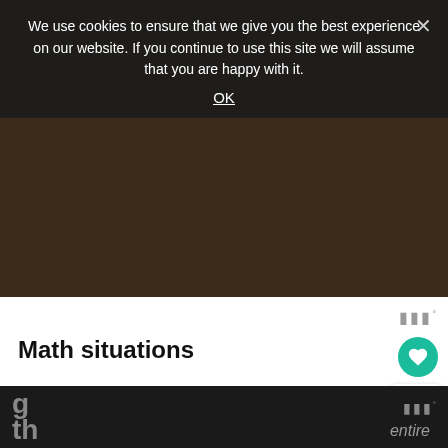We use cookies to ensure that we give you the best experience on our website. If you continue to use this site we will assume that you are happy with it.
OK
Math situations
Singapore With math, youngsters become familiar with each difficult situation, which gives them a superior comprehension of how math functions. They will then, at th... be given the issue in general, and this will